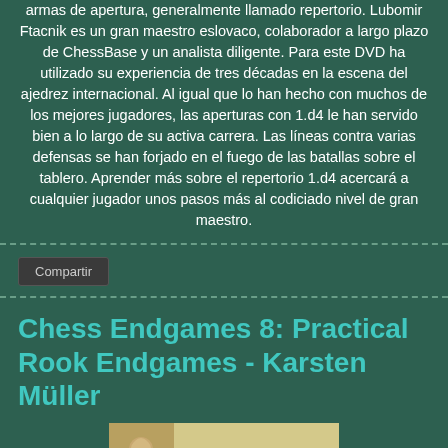armas de apertura, generalmente llamado repertorio. Lubomir Ftacnik es un gran maestro eslovaco, colaborador a largo plazo de ChessBase y un analista diligente. Para este DVD ha utilizado su experiencia de tres décadas en la escena del ajedrez internacional. Al igual que lo han hecho con muchos de los mejores jugadores, las aperturas con 1.d4 le han servido bien a lo largo de su activa carrera. Las líneas contra varias defensas se han forjado en el fuego de las batallas sobre el tablero. Aprender más sobre el repertorio 1.d4 acercará a cualquier jugador unos pasos más al codiciado nivel de gran maestro.
Compartir
Chess Endgames 8: Practical Rook Endgames - Karsten Müller
[Figure (photo): Product cover image showing Karsten Mueller with text KARSTEN MUELLER and CHESS ENDGAMES 8]